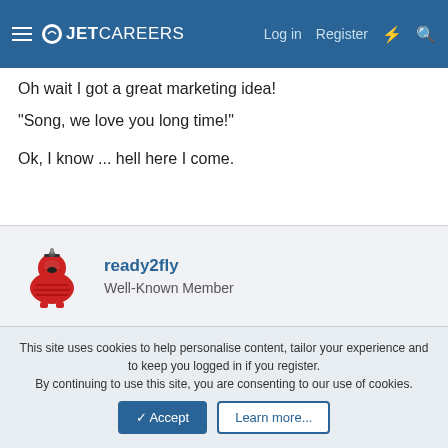JetCareers – Log in | Register
Oh wait I got a great marketing idea!
"Song, we love you long time!"
Ok, I know ... hell here I come.
ready2fly
Well-Known Member
Feb 19, 2003  #19
Re: What\'s with the Wright & Shelby Amendments at Dallas Love Field?
This site uses cookies to help personalise content, tailor your experience and to keep you logged in if you register. By continuing to use this site, you are consenting to our use of cookies.